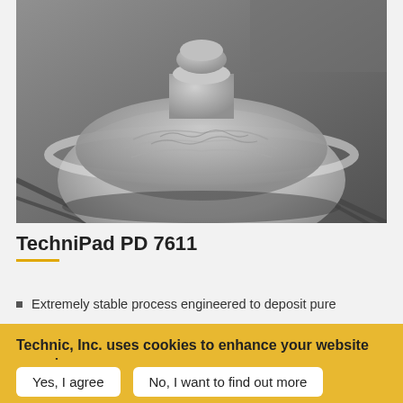[Figure (photo): Scanning electron microscope (SEM) image of a mushroom-shaped solder bump or metal deposit with a wide flared base and narrow stem, shown in grayscale.]
TechniPad PD 7611
Extremely stable process engineered to deposit pure
Technic, Inc. uses cookies to enhance your website experience.
By continuing to browse our site, you consent to our use of cookies.
Yes, I agree
No, I want to find out more